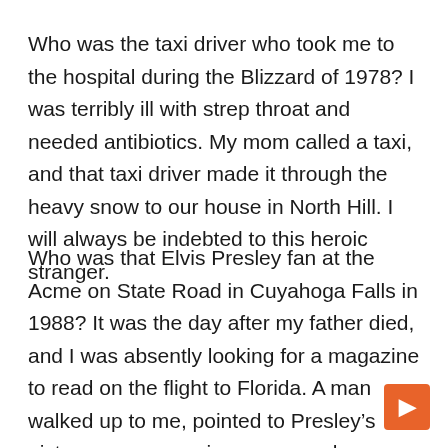Who was the taxi driver who took me to the hospital during the Blizzard of 1978? I was terribly ill with strep throat and needed antibiotics. My mom called a taxi, and that taxi driver made it through the heavy snow to our house in North Hill. I will always be indebted to this heroic stranger.
Who was that Elvis Presley fan at the Acme on State Road in Cuyahoga Falls in 1988? It was the day after my father died, and I was absently looking for a magazine to read on the flight to Florida. A man walked up to me, pointed to Presley’s picture on a magazine cover, and proclaimed, “He will always be king.”